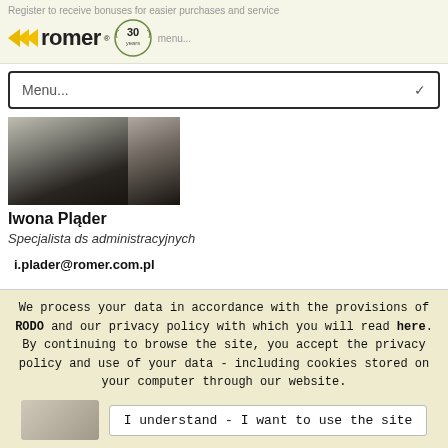Register to receive bonuses for easier purchases and service menu... romer® 30 years
Menu...
[Figure (photo): Profile photo of Iwona Pląder showing a woman with dark hair wearing a black top, split into two image tiles]
Iwona Pląder
Specjalista ds administracyjnych
i.plader@romer.com.pl
We process your data in accordance with the provisions of RODO and our privacy policy with which you will read here. By continuing to browse the site, you accept the privacy policy and use of your data - including cookies stored on your computer through our website.
I understand - I want to use the site